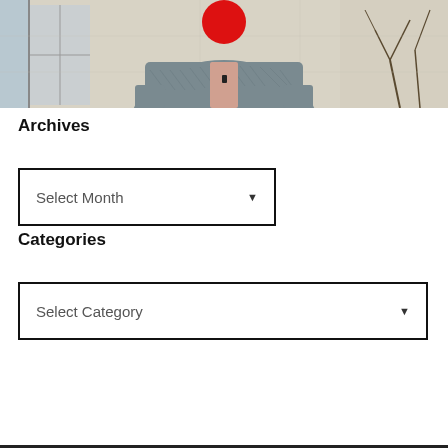[Figure (photo): A person wearing a grey patterned button-up shirt, seated indoors near a window, face obscured by a red circle]
Archives
[Figure (screenshot): Select Month dropdown box]
Categories
[Figure (screenshot): Select Category dropdown box]